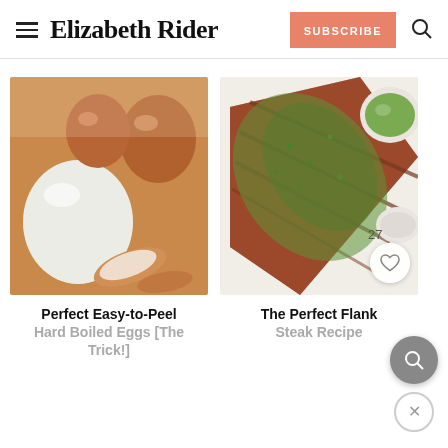Elizabeth Rider
[Figure (photo): Close-up photo of hard boiled eggs — one white peeled egg and brown eggs in shell with broken shell pieces on a wooden cutting board]
Perfect Easy-to-Peel Hard Boiled Eggs [The Trick!]
[Figure (photo): Sliced flank steak topped with green chimichurri sauce, served on a white surface with a bowl of green sauce, showing 27 saves badge and heart icon]
The Perfect Flank Steak Recipe